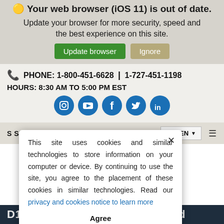Your web browser (iOS 11) is out of date. Update your browser for more security, speed and the best experience on this site.
Update browser | Ignore
PHONE: 1-800-451-6628 | 1-727-451-1198
HOURS: 8:30 AM TO 5:00 PM EST
[Figure (illustration): Row of 5 social media icons (Instagram, YouTube, Facebook, Twitter, LinkedIn) as white icons on dark blue circular backgrounds]
S SIGNUP
EN
This site uses cookies and similar technologies to store information on your computer or device. By continuing to use the site, you agree to the placement of these cookies in similar technologies. Read our privacy and cookies notice to learn more
Agree
D14MZ520 Sch 1340 1629 Linked